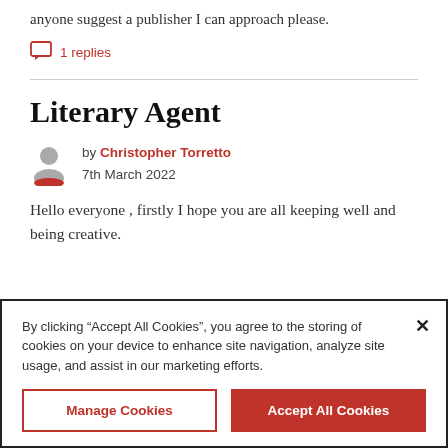anyone suggest a publisher I can approach please.
1 replies
Literary Agent
by Christopher Torretto
7th March 2022
Hello everyone , firstly I hope you are all keeping well and being creative.
By clicking “Accept All Cookies”, you agree to the storing of cookies on your device to enhance site navigation, analyze site usage, and assist in our marketing efforts.
Manage Cookies
Accept All Cookies